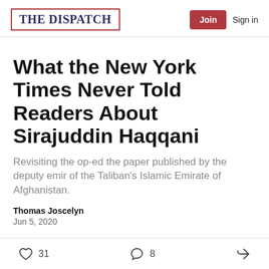The Dispatch | Join | Sign in
What the New York Times Never Told Readers About Sirajuddin Haqqani
Revisiting the op-ed the paper published by the deputy emir of the Taliban's Islamic Emirate of Afghanistan.
Thomas Joscelyn
Jun 5, 2020
Sen. Tom Cotton argued in an op-ed for the New York Times on Wednesday that the Trump administration